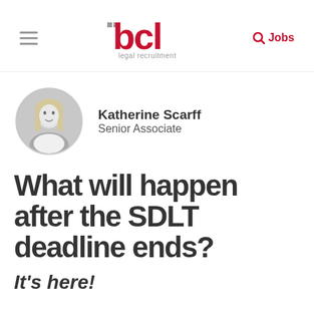BCL legal recruitment — navigation header with hamburger menu, BCL logo, and Jobs search button
[Figure (photo): Circular black and white portrait photo of Katherine Scarff, a woman with long blonde hair]
Katherine Scarff
Senior Associate
What will happen after the SDLT deadline ends?
It's here!